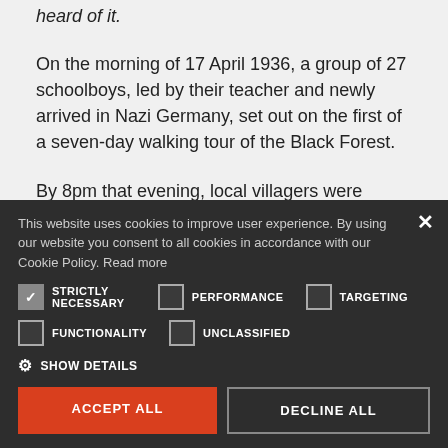heard of it.
On the morning of 17 April 1936, a group of 27 schoolboys, led by their teacher and newly arrived in Nazi Germany, set out on the first of a seven-day walking tour of the Black Forest.
By 8pm that evening, local villagers were searching for them in the woods.
This website uses cookies to improve user experience. By using our website you consent to all cookies in accordance with our Cookie Policy. Read more
STRICTLY NECESSARY (checked)
PERFORMANCE (unchecked)
TARGETING (unchecked)
FUNCTIONALITY (unchecked)
UNCLASSIFIED (unchecked)
SHOW DETAILS
ACCEPT ALL
DECLINE ALL